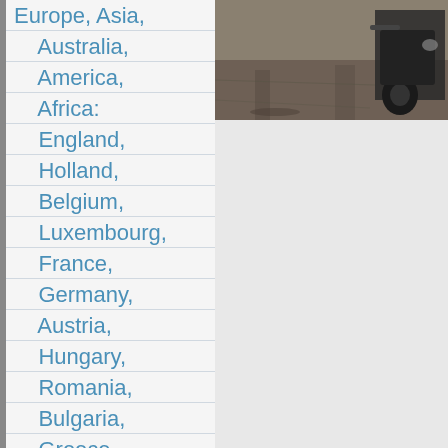Europe, Asia, Australia, America, Africa: England, Holland, Belgium, Luxembourg, France, Germany, Austria, Hungary, Romania, Bulgaria, Greece, Turkey, Cyprus, Israel, Egypt, India, Singapore, Malaysia, Thailand, Australia, USA, Portugal, Spain...
[Figure (photo): Partial photo of a motorcycle on a dirt/gravel road, cropped in upper right area of page]